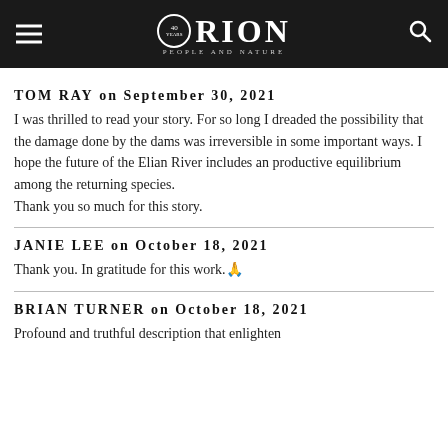ORION — People and Nature (40 years logo)
TOM RAY on September 30, 2021
I was thrilled to read your story. For so long I dreaded the possibility that the damage done by the dams was irreversible in some important ways. I hope the future of the Elian River includes an productive equilibrium among the returning species.
Thank you so much for this story.
JANIE LEE on October 18, 2021
Thank you. In gratitude for this work.🙏
BRIAN TURNER on October 18, 2021
Profound and truthful description that enlighten